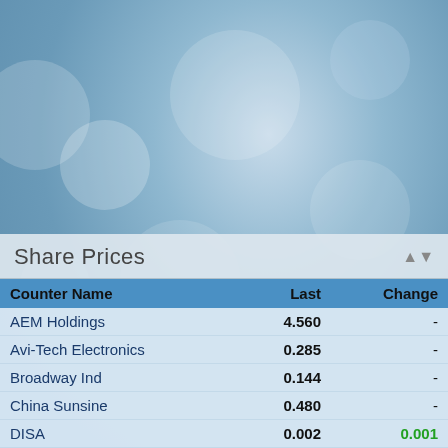[Figure (photo): Blurred bokeh blue background with soft circular light spots]
Share Prices
| Counter Name | Last | Change |
| --- | --- | --- |
| AEM Holdings | 4.560 | - |
| Avi-Tech Electronics | 0.285 | - |
| Broadway Ind | 0.144 | - |
| China Sunsine | 0.480 | - |
| DISA | 0.002 | 0.001 |